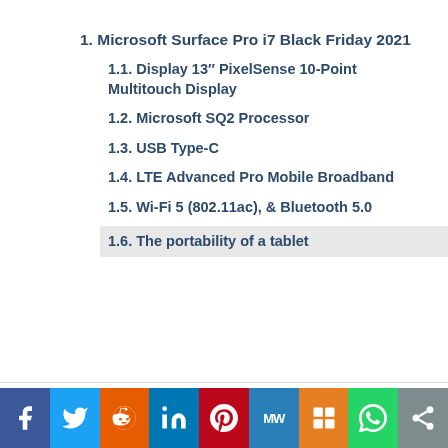1. Microsoft Surface Pro i7 Black Friday 2021
1.1. Display 13″ PixelSense 10-Point Multitouch Display
1.2. Microsoft SQ2 Processor
1.3. USB Type-C
1.4. LTE Advanced Pro Mobile Broadband
1.5. Wi-Fi 5 (802.11ac), & Bluetooth 5.0
1.6. The portability of a tablet
Social sharing bar: Facebook, Twitter, Reddit, LinkedIn, Pinterest, MW, Mix, WhatsApp, Share